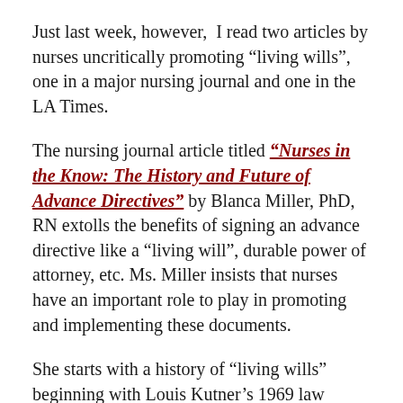Just last week, however, I read two articles by nurses uncritically promoting “living wills”, one in a major nursing journal and one in the LA Times.
The nursing journal article titled “Nurses in the Know: The History and Future of Advance Directives” by Blanca Miller, PhD, RN extolls the benefits of signing an advance directive like a “living will”, durable power of attorney, etc. Ms. Miller insists that nurses have an important role to play in promoting and implementing these documents.
She starts with a history of “living wills” beginning with Louis Kutner’s 1969 law journal...